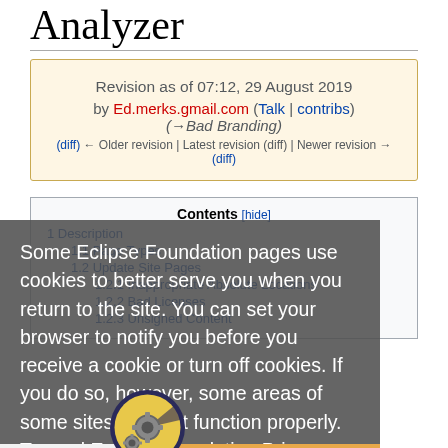Analyzer
Revision as of 07:12, 29 August 2019 by Ed.merks.gmail.com (Talk | contribs) (→Bad Branding)
(diff) ← Older revision | Latest revision (diff) | Newer revision → (diff)
Some Eclipse Foundation pages use cookies to better serve you when you return to the site. You can set your browser to notify you before you receive a cookie or turn off cookies. If you do so, however, some areas of some sites may not function properly. To read Eclipse Foundation Privacy Policy click here.
Contents [hide]
1 Description
1.1 Page Types
1.2 Update Site Pages
1.2.1 Inappropriate Absolute Locations
1.2.2 Bad Licenses
1.2.3 Unsigned Content